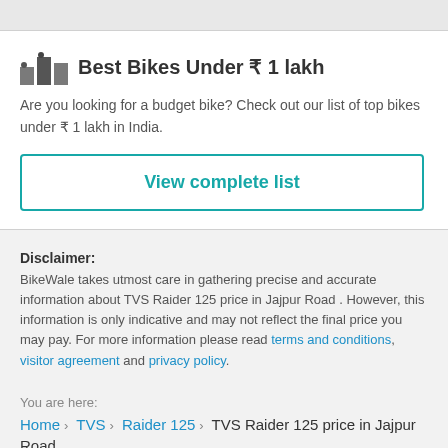Best Bikes Under ₹ 1 lakh
Are you looking for a budget bike? Check out our list of top bikes under ₹ 1 lakh in India.
View complete list
Disclaimer: BikeWale takes utmost care in gathering precise and accurate information about TVS Raider 125 price in Jajpur Road . However, this information is only indicative and may not reflect the final price you may pay. For more information please read terms and conditions, visitor agreement and privacy policy.
You are here:
Home › TVS › Raider 125 › TVS Raider 125 price in Jajpur Road